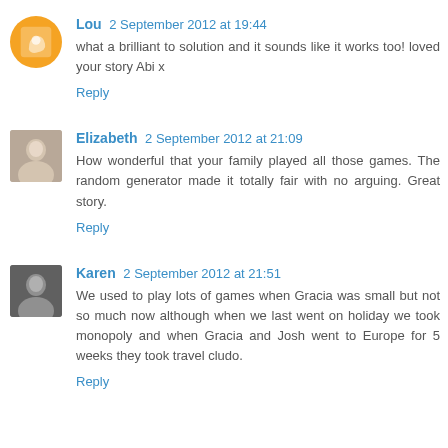Lou 2 September 2012 at 19:44
what a brilliant to solution and it sounds like it works too! loved your story Abi x
Reply
Elizabeth 2 September 2012 at 21:09
How wonderful that your family played all those games. The random generator made it totally fair with no arguing. Great story.
Reply
Karen 2 September 2012 at 21:51
We used to play lots of games when Gracia was small but not so much now although when we last went on holiday we took monopoly and when Gracia and Josh went to Europe for 5 weeks they took travel cludo.
Reply